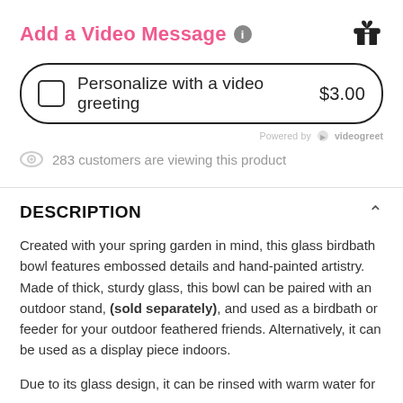Add a Video Message
Personalize with a video greeting  $3.00
Powered by videogreet
283 customers are viewing this product
DESCRIPTION
Created with your spring garden in mind, this glass birdbath bowl features embossed details and hand-painted artistry. Made of thick, sturdy glass, this bowl can be paired with an outdoor stand, (sold separately), and used as a birdbath or feeder for your outdoor feathered friends. Alternatively, it can be used as a display piece indoors.
Due to its glass design, it can be rinsed with warm water for